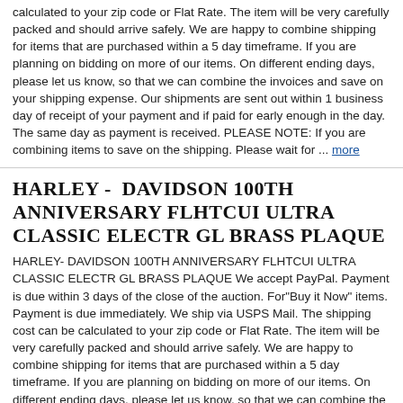calculated to your zip code or Flat Rate. The item will be very carefully packed and should arrive safely. We are happy to combine shipping for items that are purchased within a 5 day timeframe. If you are planning on bidding on more of our items. On different ending days, please let us know, so that we can combine the invoices and save on your shipping expense. Our shipments are sent out within 1 business day of receipt of your payment and if paid for early enough in the day. The same day as payment is received. PLEASE NOTE: If you are combining items to save on the shipping. Please wait for ... more
HARLEY - DAVIDSON 100TH ANNIVERSARY FLHTCUI ULTRA CLASSIC ELECTR GL BRASS PLAQUE
HARLEY- DAVIDSON 100TH ANNIVERSARY FLHTCUI ULTRA CLASSIC ELECTR GL BRASS PLAQUE We accept PayPal. Payment is due within 3 days of the close of the auction. For"Buy it Now" items. Payment is due immediately. We ship via USPS Mail. The shipping cost can be calculated to your zip code or Flat Rate. The item will be very carefully packed and should arrive safely. We are happy to combine shipping for items that are purchased within a 5 day timeframe. If you are planning on bidding on more of our items. On different ending days, please let us know, so that we can combine the invoices and save on your shipping expense. Our shipments are sent out within 1 business day of receipt of your payment and if paid for early enough in the day. The same day as payment is received. PLEASE NOTE: If you are combining items to save on the shipping. Please ... more
HARLEY - DAVIDSON 100TH ANNIVERSARY FLHR ROAD KING